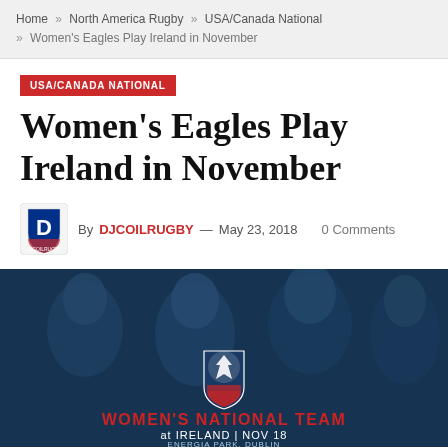Home » North America Rugby » USA/Canada National » Women's Eagles Play Ireland in November
USA/CANADA NATIONAL
Women's Eagles Play Ireland in November
By DJCOILRUGBY — May 23, 2018  0 Comments
[Figure (photo): Women's rugby national team players in dark jerseys, smiling, with overlay text: WOMEN'S NATIONAL TEAM at IRELAND | NOV 18 ENERGIA PARK, DUBLIN, and USA Rugby eagle shield logo]